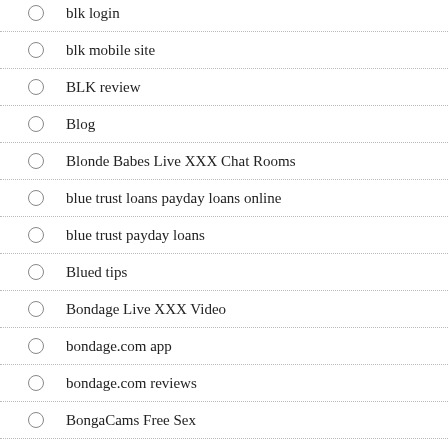blk login
blk mobile site
BLK review
Blog
Blonde Babes Live XXX Chat Rooms
blue trust loans payday loans online
blue trust payday loans
Blued tips
Bondage Live XXX Video
bondage.com app
bondage.com reviews
BongaCams Free Sex